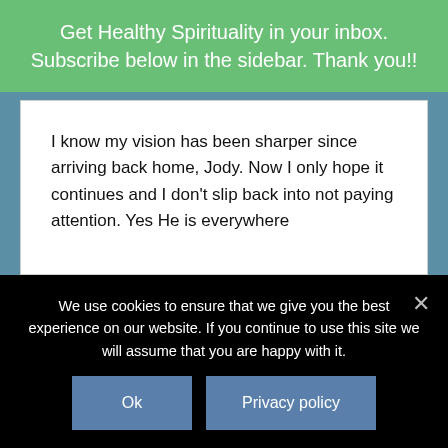Get Healthy Spirituality in your inbox. Subscribe below in the sidebar. Thank you!!
I know my vision has been sharper since arriving back home, Jody. Now I only hope it continues and I don't slip back into not paying attention. Yes He is everywhere
We use cookies to ensure that we give you the best experience on our website. If you continue to use this site we will assume that you are happy with it.